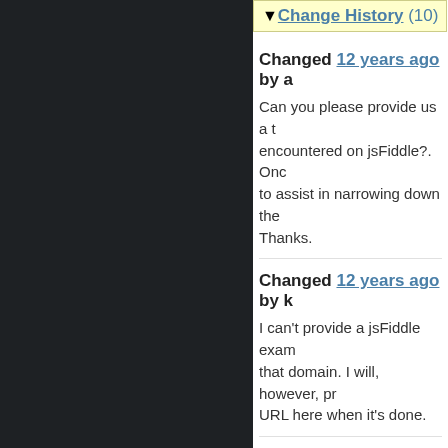▼ Change History (10)
Changed 12 years ago by a
Can you please provide us a t encountered on jsFiddle?. Onc to assist in narrowing down the Thanks.
Changed 12 years ago by k
I can't provide a jsFiddle exam that domain. I will, however, pr URL here when it's done.
Changed 12 years ago by k
You can see a simple test pag
http://gutfullofbeer.net/jquer
Changed 12 years ago by S